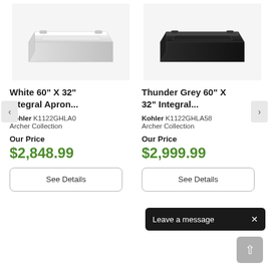[Figure (photo): White Kohler bathtub product photo on light grey background]
[Figure (photo): Thunder Grey Kohler bathtub product photo on light grey background]
White 60" X 32" Integral Apron...
Thunder Grey 60" X 32" Integral...
Kohler K1122GHLA0
Archer Collection
Kohler K1122GHLA58
Archer Collection
Our Price
$2,848.99
Our Price
$2,999.99
See Details
See Details
Leave a message